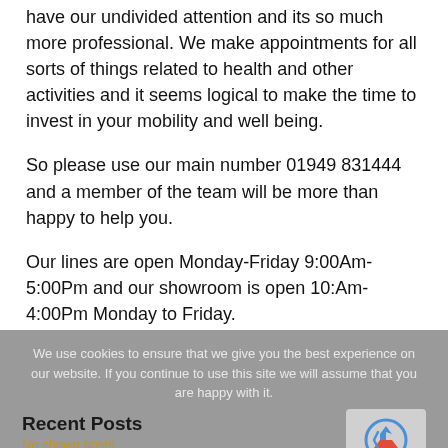have our undivided attention and its so much more professional. We make appointments for all sorts of things related to health and other activities and it seems logical to make the time to invest in your mobility and well being.
So please use our main number 01949 831444 and a member of the team will be more than happy to help you.
Our lines are open Monday-Friday 9:00Am-5:00Pm and our showroom is open 10:Am-4:00Pm Monday to Friday.
We use cookies to ensure that we give you the best experience on our website. If you continue to use this site we will assume that you are happy with it.
Recent Posts
No shown posts
Freephone service update